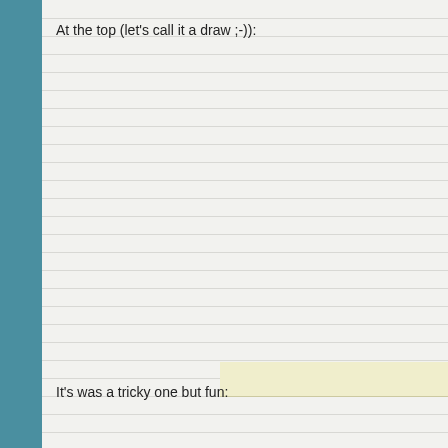At the top (let's call it a draw ;-)):
It's was a tricky one but fun: